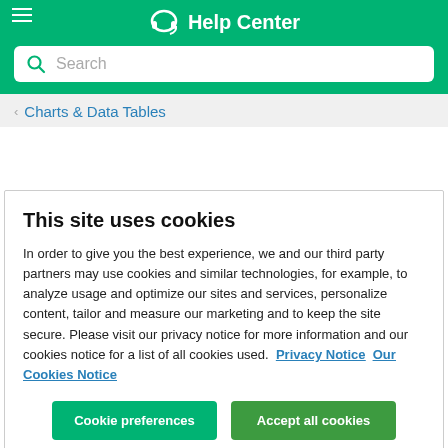Help Center
Search
< Charts & Data Tables
This site uses cookies
In order to give you the best experience, we and our third party partners may use cookies and similar technologies, for example, to analyze usage and optimize our sites and services, personalize content, tailor and measure our marketing and to keep the site secure. Please visit our privacy notice for more information and our cookies notice for a list of all cookies used. Privacy Notice Our Cookies Notice
Cookie preferences
Accept all cookies